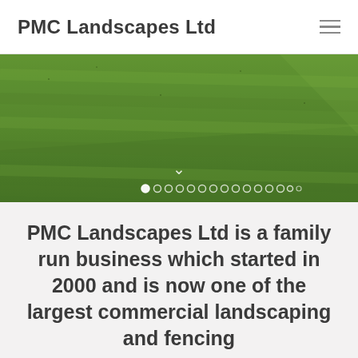PMC Landscapes Ltd
[Figure (photo): Overhead view of a mowed grass lawn with diagonal mowing stripe patterns, forming the hero/banner image of the PMC Landscapes Ltd website.]
PMC Landscapes Ltd is a family run business which started in 2000 and is now one of the largest commercial landscaping and fencing